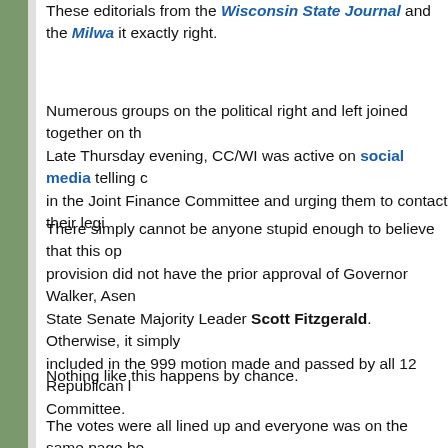These editorials from the Wisconsin State Journal and the Milwa... it exactly right.
Numerous groups on the political right and left joined together on th... Late Thursday evening, CC/WI was active on social media telling c... in the Joint Finance Committee and urging them to contact their legi...
There simply cannot be anyone stupid enough to believe that this op... provision did not have the prior approval of Governor Walker, Assen... State Senate Majority Leader Scott Fitzgerald. Otherwise, it simply... included in the 999 motion made and passed by all 12 Republican l... Committee.
Nothing like this happens by chance.
The votes were all lined up and everyone was on the same page be... the citizens of Wisconsin like a vat of poisonous toxic waste late las... outrageous and disgusting that no Republican would say who was t...
Particularly odious were the comments of North Dakota veterinarian... elected to the Wisconsin Assembly as a Republican from Hudson in... he actually said: "I think that this serves to clarify and make it easier...